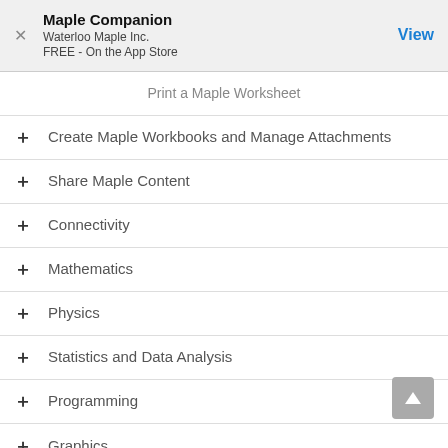Maple Companion
Waterloo Maple Inc.
FREE - On the App Store
Print a Maple Worksheet
Create Maple Workbooks and Manage Attachments
Share Maple Content
Connectivity
Mathematics
Physics
Statistics and Data Analysis
Programming
Graphics